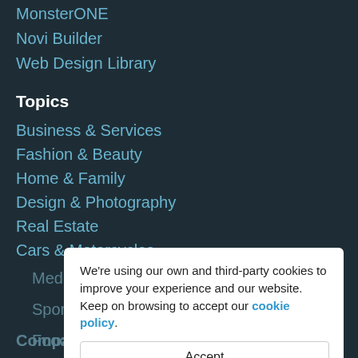MonsterONE
Novi Builder
Web Design Library
Topics
Business & Services
Fashion & Beauty
Home & Family
Design & Photography
Real Estate
Cars & Motorcycles
Medical
Sports, Outdoors & Travel
Food
Electronics
We're using our own and third-party cookies to improve your experience and our website. Keep on browsing to accept our cookie policy.
Accept
Company